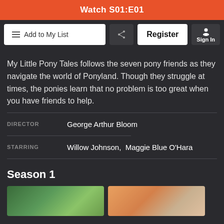[Figure (screenshot): Orange Watch S01:E01 button at the top]
Add to My List
Register
Sign In
My Little Pony Tales follows the seven pony friends as they navigate the world of Ponyland. Though they struggle at times, the ponies learn that no problem is too great when you have friends to help.
DIRECTOR   George Arthur Bloom
STARRING   Willow Johnson,  Maggie Blue O'Hara
Season 1
[Figure (screenshot): Two episode thumbnail images side by side at the bottom]